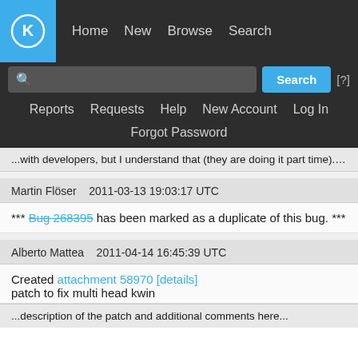[Figure (screenshot): KDE Bugzilla navigation header with logo, nav links (Home, New, Browse, Search), search bar, secondary nav (Reports, Requests, Help, New Account, Log In), and Forgot Password link]
...with developers, but I understand that (they are doing it part time). Once I pass my last uni exam next week, I will return working...
Martin Flöser   2011-03-13 19:03:17 UTC
*** Bug 268395 has been marked as a duplicate of this bug. ***
Alberto Mattea   2011-04-14 16:45:39 UTC
Created attachment 58970 [details]
patch to fix multi head kwin
...description of the patch and additional info...